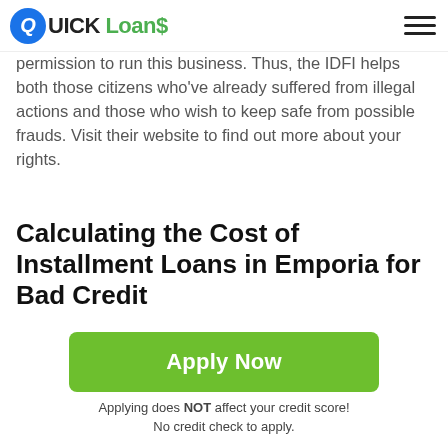QUICK Loans
permission to run this business. Thus, the IDFI helps both those citizens who've already suffered from illegal actions and those who wish to keep safe from possible frauds. Visit their website to find out more about your rights.
Calculating the Cost of Installment Loans in Emporia for Bad Credit
Having discussed the legal particulars, we're moving on to the more practical part. Let's check out the numbers: how much you can borrow, what percentage rates you should expect, and how to calculate the total cost of a loan.
Apply Now
Applying does NOT affect your credit score!
No credit check to apply.